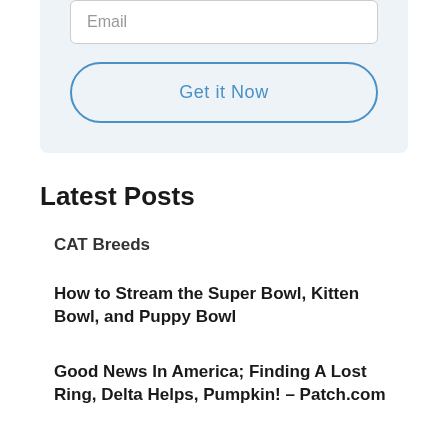Email
Get it Now
Latest Posts
CAT Breeds
How to Stream the Super Bowl, Kitten Bowl, and Puppy Bowl
Good News In America; Finding A Lost Ring, Delta Helps, Pumpkin! – Patch.com